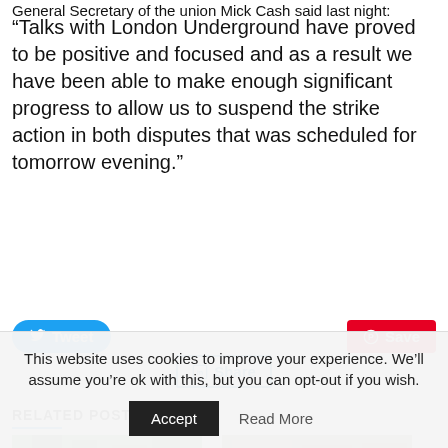General Secretary of the union Mick Cash said last night:
“Talks with London Underground have proved to be positive and focused and as a result we have been able to make enough significant progress to allow us to suspend the strike action in both disputes that was scheduled for tomorrow evening.”
[Figure (infographic): Social sharing buttons: Tweet (blue), Save (red Pinterest), Share (LinkedIn blue)]
RELATED POSTS
[Figure (photo): Photo of trees with sky background]
[Figure (photo): Photo of people near a brick building]
This website uses cookies to improve your experience. We’ll assume you’re ok with this, but you can opt-out if you wish.